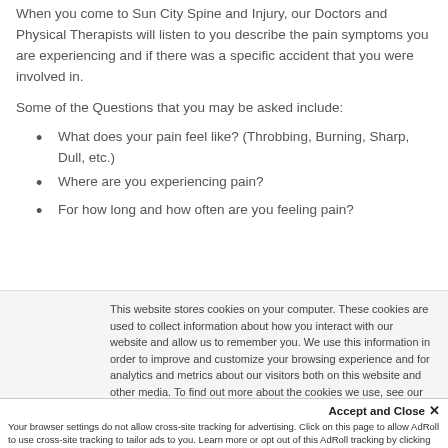When you come to Sun City Spine and Injury, our Doctors and Physical Therapists will listen to you describe the pain symptoms you are experiencing and if there was a specific accident that you were involved in.
Some of the Questions that you may be asked include:
What does your pain feel like? (Throbbing, Burning, Sharp, Dull, etc.)
Where are you experiencing pain?
For how long and how often are you feeling pain?
This website stores cookies on your computer. These cookies are used to collect information about how you interact with our website and allow us to remember you. We use this information in order to improve and customize your browsing experience and for analytics and metrics about our visitors both on this website and other media. To find out more about the cookies we use, see our Privacy Policy.
Accept and Close ✕
Your browser settings do not allow cross-site tracking for advertising. Click on this page to allow AdRoll to use cross-site tracking to tailor ads to you. Learn more or opt out of this AdRoll tracking by clicking here. This message only appears once.